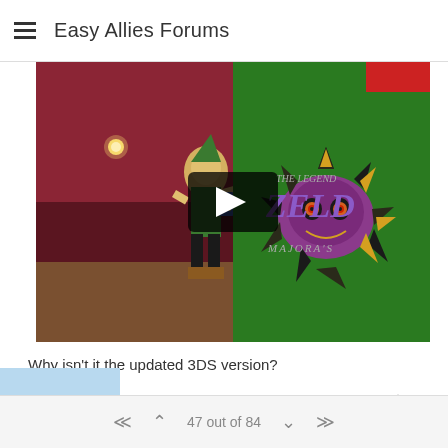Easy Allies Forums
[Figure (screenshot): YouTube video thumbnail for The Legend of Zelda Majora's Mask showing Link character on left half with dark red/purple background, and Majora's Mask logo on right half with green background. A play button is visible in the center.]
Why isn't it the updated 3DS version?
2 Replies > 0